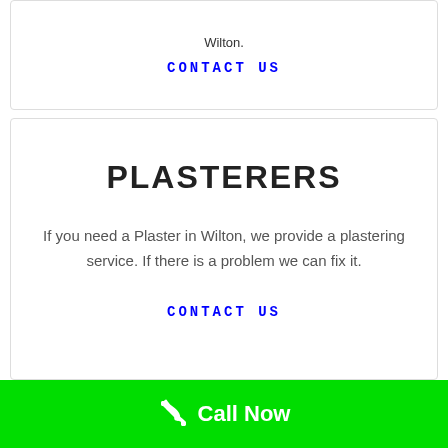Wilton.
CONTACT US
PLASTERERS
If you need a Plaster in Wilton, we provide a plastering service. If there is a problem we can fix it.
CONTACT US
Call Now